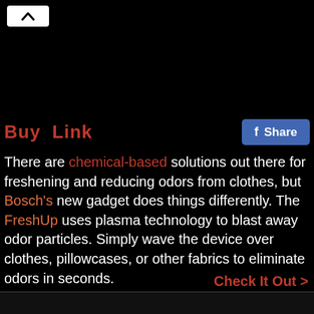[Figure (screenshot): Black background area at top of page with a white chevron/up-arrow button in the top-left corner]
Buy  Link
Share (Facebook button)
There are chemical-based solutions out there for freshening and reducing odors from clothes, but Bosch's new gadget does things differently. The FreshUp uses plasma technology to blast away odor particles. Simply wave the device over clothes, pillowcases, or other fabrics to eliminate odors in seconds.
Check It Out >
Bosch Blaze Laser Measure